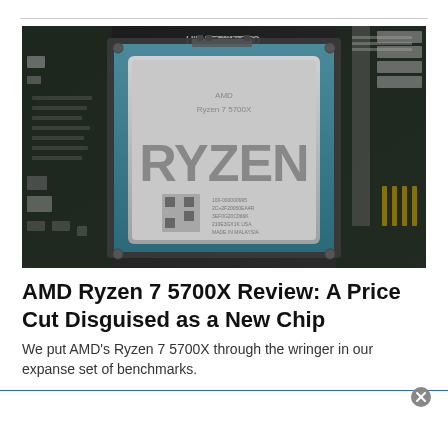[Figure (photo): Close-up photo of an AMD Ryzen 7 5700X processor seated in a motherboard socket, with the RYZEN logo prominently visible on the silver IHS. The motherboard shows green PCB with various components. An OPTIMEN III branding is visible at the top of the board.]
AMD Ryzen 7 5700X Review: A Price Cut Disguised as a New Chip
We put AMD's Ryzen 7 5700X through the wringer in our expanse set of benchmarks.